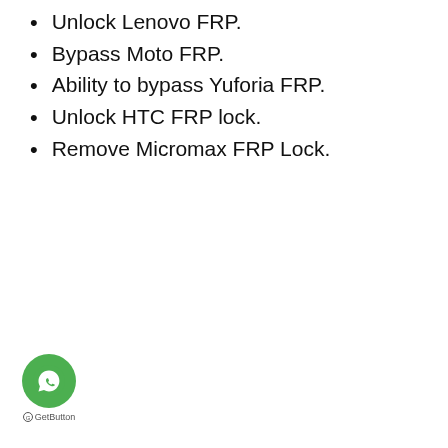Unlock Lenovo FRP.
Bypass Moto FRP.
Ability to bypass Yuforia FRP.
Unlock HTC FRP lock.
Remove Micromax FRP Lock.
[Figure (logo): WhatsApp GetButton widget with green circular WhatsApp icon and GetButton label below]